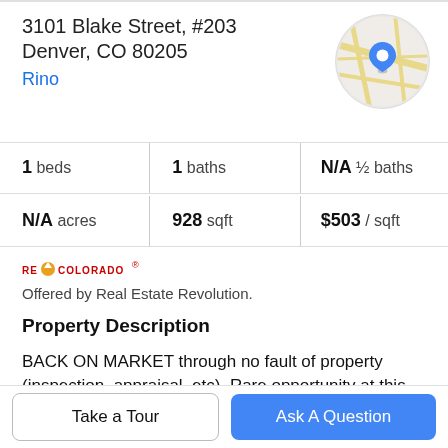3101 Blake Street, #203
Denver, CO 80205
Rino
[Figure (map): Circular map thumbnail with street map and blue location pin marker]
1 beds | 1 baths | N/A ½ baths
N/A acres | 928 sqft | $503 / sqft
[Figure (logo): RE/Colorado logo with orange house icon]
Offered by Real Estate Revolution.
Property Description
BACK ON MARKET through no fault of property (inspection, appraisal, etc). Rare opportunity at this price for a one bedroom PLUS STUDY/guest room in the heart of RiNo! One covered/designated parking space and